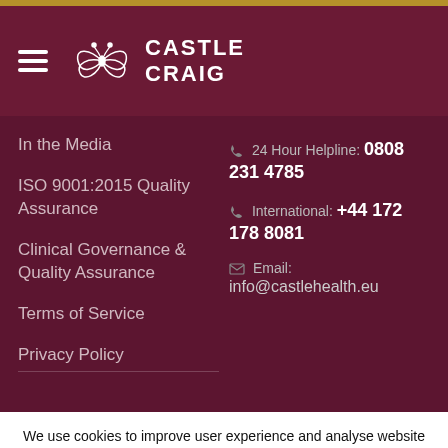[Figure (logo): Castle Craig logo with butterfly/scroll emblem and text CASTLE CRAIG on dark maroon background]
In the Media
ISO 9001:2015 Quality Assurance
Clinical Governance & Quality Assurance
Terms of Service
Privacy Policy
24 Hour Helpline: 0808 231 4785
International: +44 172 178 8081
Email: info@castlehealth.eu
We use cookies to improve user experience and analyse website traffic. By clicking "Accept", you agree to our website's cookie use as described in our Cookie Policy.
ACCEPT